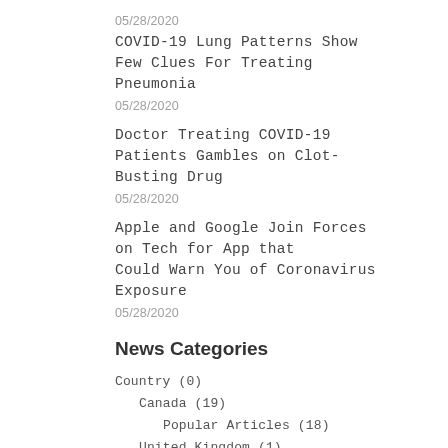05/28/2020
COVID-19 Lung Patterns Show Few Clues For Treating Pneumonia
05/28/2020
Doctor Treating COVID-19 Patients Gambles on Clot-Busting Drug
05/28/2020
Apple and Google Join Forces on Tech for App that Could Warn You of Coronavirus Exposure
05/28/2020
News Categories
Country (0)
Canada (19)
Popular Articles (18)
United Kingdom (1)
Popular Articles (1)
United States (8)